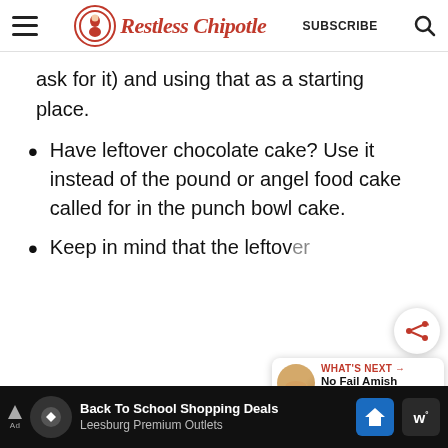Restless Chipotle — SUBSCRIBE
ask for it) and using that as a starting place.
Have leftover chocolate cake? Use it instead of the pound or angel food cake called for in the punch bowl cake.
Keep in mind that the leftover
[Figure (other): Advertisement bar at bottom: Back To School Shopping Deals - Leesburg Premium Outlets]
[Figure (other): Share button overlay (circular share icon)]
[Figure (other): What's Next widget: No Fail Amish White Bread]